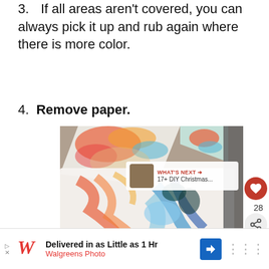3. If all areas aren't covered, you can always pick it up and rub again where there is more color.
4. Remove paper.
[Figure (photo): Photo of colorful marbled paint paper craft — sheets of paper with swirled orange, blue, teal, and white paint patterns lying on a surface, with a 'What's Next' overlay showing a thumbnail and text '17+ DIY Christmas...']
[Figure (infographic): Ad banner: Walgreens Photo — Delivered in as Little as 1 Hr]